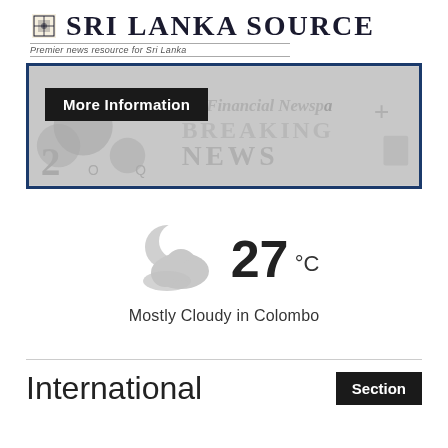Sri Lanka Source — Premier news resource for Sri Lanka
[Figure (screenshot): Banner advertisement with dark blue border showing newspaper background with 'More Information' button and text reading 'Financial Newspaper' and 'BREAKING NEWS']
[Figure (infographic): Weather widget showing mostly cloudy icon with temperature 27°C and text 'Mostly Cloudy in Colombo']
International
Section